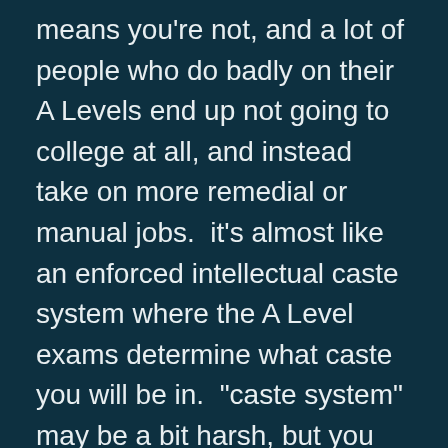means you're not, and a lot of people who do badly on their A Levels end up not going to college at all, and instead take on more remedial or manual jobs.  it's almost like an enforced intellectual caste system where the A Level exams determine what caste you will be in.  "caste system" may be a bit harsh, but you get the idea — if you do badly on your SATs, you can still get into a pretty good school if your grades and other stuff are in place.  I got an 1150, which, while not horrible, wasn't anywhere near what my friends in my AP English class were getting, and yet i went to a private university and a highly specialized program that let me develop my own major.  of course, the other side of the coin in the uk is that not everyone goes to college like they